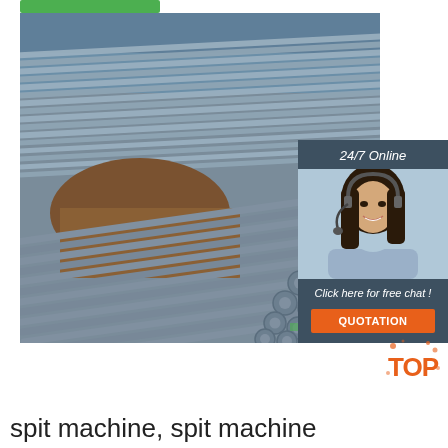[Figure (photo): Stack of steel rods and pipes at a construction site outdoors]
[Figure (infographic): 24/7 Online chat widget with a female customer service agent wearing headset, 'Click here for free chat!' and QUOTATION button in orange]
[Figure (logo): TOP logo badge in orange/red with splatter design]
spit machine, spit machine